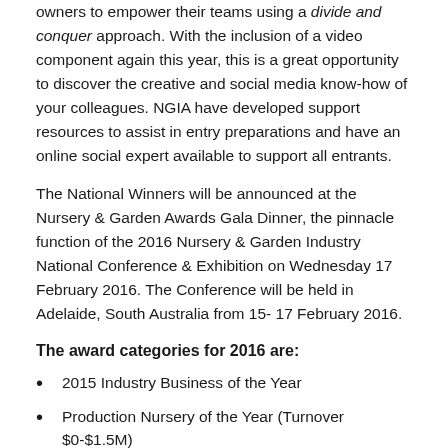owners to empower their teams using a divide and conquer approach. With the inclusion of a video component again this year, this is a great opportunity to discover the creative and social media know-how of your colleagues. NGIA have developed support resources to assist in entry preparations and have an online social expert available to support all entrants.
The National Winners will be announced at the Nursery & Garden Awards Gala Dinner, the pinnacle function of the 2016 Nursery & Garden Industry National Conference & Exhibition on Wednesday 17 February 2016. The Conference will be held in Adelaide, South Australia from 15- 17 February 2016.
The award categories for 2016 are:
2015 Industry Business of the Year
Production Nursery of the Year (Turnover $0-$1.5M)
Production Nursery of the Year (Turnover >$1.5M)
Retailer of the Year (Turnover $0-$1.5M)